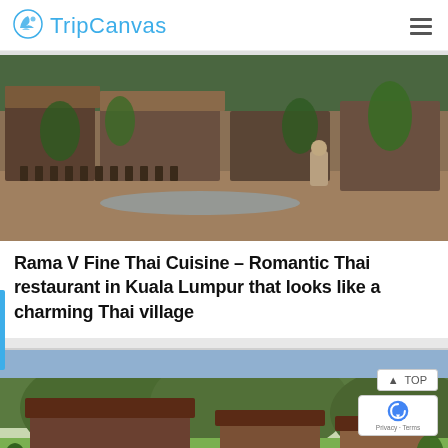TripCanvas
[Figure (photo): Outdoor Thai restaurant with wooden chairs and tables arranged in rows, surrounded by tropical plants, a pond, and traditional Thai architecture with a stone statue.]
Rama V Fine Thai Cuisine – Romantic Thai restaurant in Kuala Lumpur that looks like a charming Thai village
[Figure (photo): Wide view of traditional wooden resort buildings with dark roofs beside a pond, surrounded by green lawns and forested hills, with small huts visible near the water.]